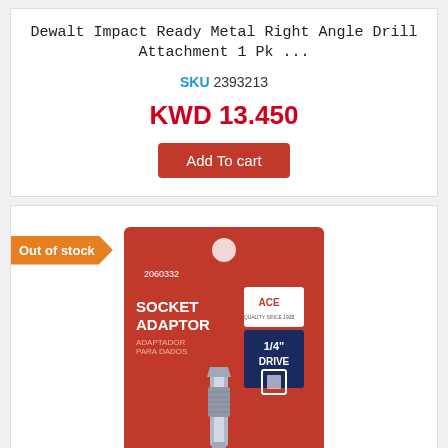Dewalt Impact Ready Metal Right Angle Drill Attachment 1 Pk ...
SKU 2393213
KWD 13.450
Add To cart
Out of stock
[Figure (photo): ACE Socket Adaptor product in red packaging, 1/4 inch drive, 2 inch / 50mm, item number 2060332]